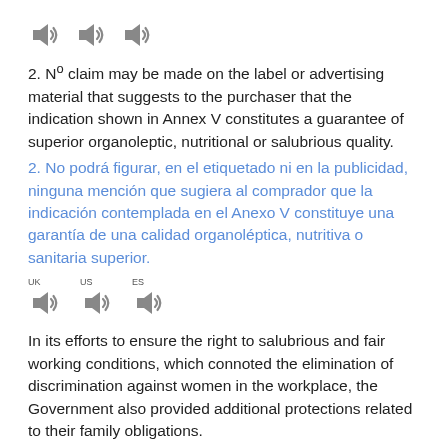[Figure (other): Three audio speaker icons in a row at the top of the page]
2. N° claim may be made on the label or advertising material that suggests to the purchaser that the indication shown in Annex V constitutes a guarantee of superior organoleptic, nutritional or salubrious quality.
2. No podrá figurar, en el etiquetado ni en la publicidad, ninguna mención que sugiera al comprador que la indicación contemplada en el Anexo V constituye una garantía de una calidad organoléptica, nutritiva o sanitaria superior.
[Figure (other): Three audio speaker icons labeled UK, US, ES]
In its efforts to ensure the right to salubrious and fair working conditions, which connoted the elimination of discrimination against women in the workplace, the Government also provided additional protections related to their family obligations.
En sus esfuerzos por asegurar el derecho a condiciones